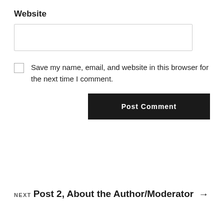Website
Save my name, email, and website in this browser for the next time I comment.
Post Comment
NEXT
Post 2, About the Author/Moderator →